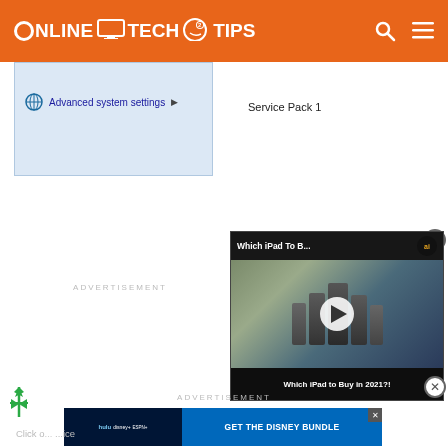ONLINE TECH TIPS
[Figure (screenshot): Windows control panel screenshot showing 'Advanced system settings' link with globe icon]
Service Pack 1
ADVERTISEMENT
[Figure (screenshot): Video player overlay showing 'Which iPad To B...' with play button and 'Which iPad to Buy in 2021?!' text, with AI badge]
ADVERTISEMENT
[Figure (screenshot): Disney Bundle advertisement banner: hulu, Disney+, ESPN+ - GET THE DISNEY BUNDLE]
Click o... ...ice